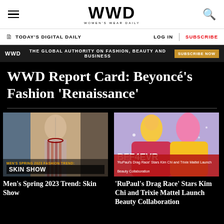WWD — Women's Wear Daily
TODAY'S DIGITAL DAILY | LOG IN | SUBSCRIBE
WWD THE GLOBAL AUTHORITY ON FASHION, BEAUTY AND BUSINESS SUBSCRIBE NOW
WWD Report Card: Beyoncé's Fashion 'Renaissance'
[Figure (photo): Men's Spring 2023 Fashion Trend: Skin Show — male model showing skin on runway]
Men's Spring 2023 Trend: Skin Show
[Figure (photo): BFF4EVR — RuPaul's Drag Race Stars Kim Chi and Trixie Mattel Launch Beauty Collaboration]
'RuPaul's Drag Race' Stars Kim Chi and Trixie Mattel Launch Beauty Collaboration